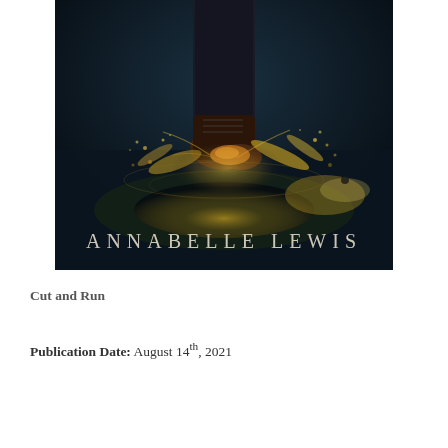[Figure (photo): Book cover photo showing a person's legs and boots splashing through a puddle at night on a wet road, with golden water droplets splashing dramatically. The author name 'ANNABELLE LEWIS' appears in white serif text at the bottom of the image.]
Cut and Run
Publication Date: August 14th, 2021